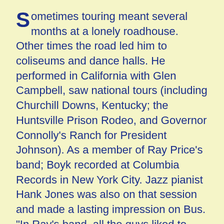Sometimes touring meant several months at a lonely roadhouse. Other times the road led him to coliseums and dance halls. He performed in California with Glen Campbell, saw national tours (including Churchill Downs, Kentucky; the Huntsville Prison Rodeo, and Governor Connolly's Ranch for President Johnson). As a member of Ray Price's band; Boyk recorded at Columbia Records in New York City. Jazz pianist Hank Jones was also on that session and made a lasting impression on Bus. "In Ray's band, all the guys liked to play swing jazz on their off hours," remembers Bus.
Back home in Portland in the '80s, Boyk found himself retirement age but not retirement material. He kept busy in a variety of bands and styles, including country, swing, western swing, old time, and bluegrass. (Once while giving Bus the